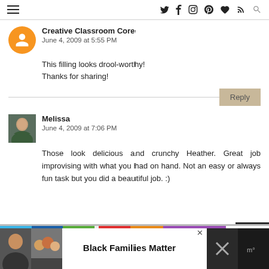Creative Classroom Core — navigation bar with social icons
Creative Classroom Core
June 4, 2009 at 5:55 PM
This filling looks drool-worthy!
Thanks for sharing!
Melissa
June 4, 2009 at 7:06 PM
Those look delicious and crunchy Heather. Great job improvising with what you had on hand. Not an easy or always fun task but you did a beautiful job. :)
[Figure (photo): Advertisement banner: Black Families Matter with group photo of children]
Black Families Matter